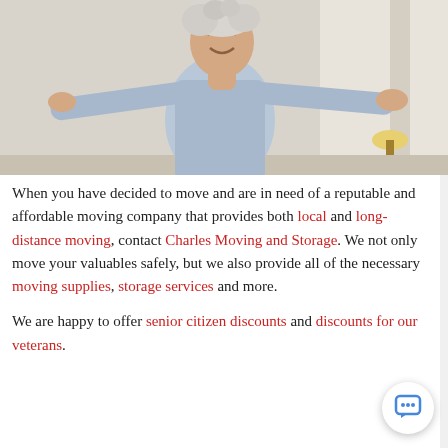[Figure (photo): An elderly woman with short white/grey hair, wearing a light blue long-sleeve shirt, standing with arms spread wide open, smiling with eyes closed, in a bright indoor setting with a lamp visible in the background.]
When you have decided to move and are in need of a reputable and affordable moving company that provides both local and long-distance moving, contact Charles Moving and Storage. We not only move your valuables safely, but we also provide all of the necessary moving supplies, storage services and more.
We are happy to offer senior citizen discounts and discounts for our veterans.